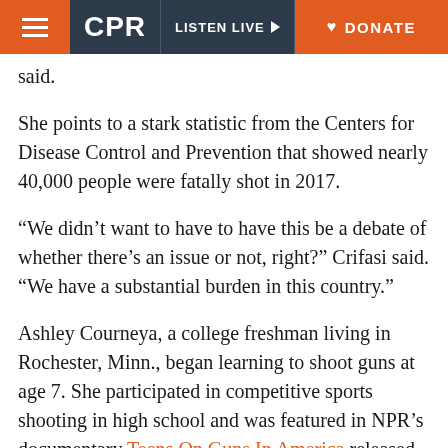CPR | LISTEN LIVE | DONATE
said.
She points to a stark statistic from the Centers for Disease Control and Prevention that showed nearly 40,000 people were fatally shot in 2017.
“We didn’t want to have to have this be a debate of whether there’s an issue or not, right?” Crifasi said. “We have a substantial burden in this country.”
Ashley Courneya, a college freshman living in Rochester, Minn., began learning to shoot guns at age 7. She participated in competitive sports shooting in high school and was featured in NPR’s documentary Teens On Guns In America released earlier this year.